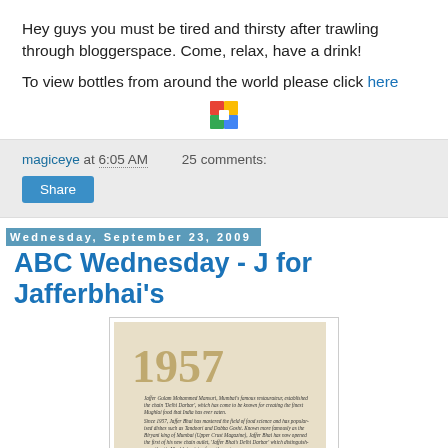Hey guys you must be tired and thirsty after trawling through bloggerspace. Come, relax, have a drink!
To view bottles from around the world please click here
[Figure (logo): Picasa/Google Photos colorful pinwheel icon]
magiceye at 6:05 AM   25 comments:
Share
Wednesday, September 23, 2009
ABC Wednesday - J for Jafferbhai's
[Figure (photo): Photo of a sign reading '1957' with text about Jaffer Gulam Mohammed Mansuri, Mumbai's famous restaurateur, establishing the chain 'Delhi Darbar' and popularizing Mughlai food]